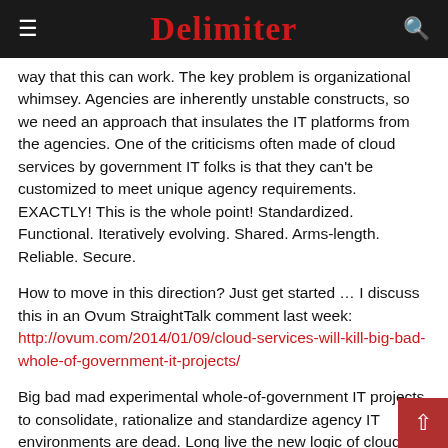Delimiter
way that this can work. The key problem is organizational whimsey. Agencies are inherently unstable constructs, so we need an approach that insulates the IT platforms from the agencies. One of the criticisms often made of cloud services by government IT folks is that they can't be customized to meet unique agency requirements. EXACTLY! This is the whole point! Standardized. Functional. Iteratively evolving. Shared. Arms-length. Reliable. Secure.
How to move in this direction? Just get started … I discuss this in an Ovum StraightTalk comment last week: http://ovum.com/2014/01/09/cloud-services-will-kill-big-bad-whole-of-government-it-projects/
Big bad mad experimental whole-of-government IT projects to consolidate, rationalize and standardize agency IT environments are dead. Long live the new logic of cloud services: find solutions that work well in